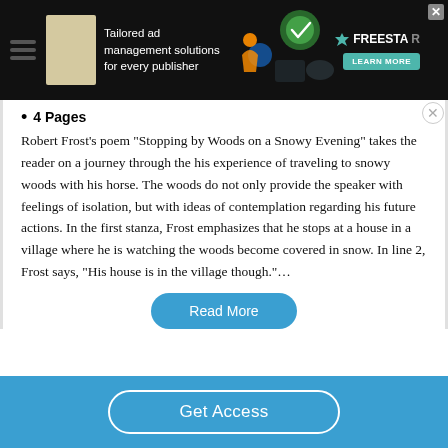[Figure (other): Dark advertisement banner for Freestar ad management solutions with green and teal graphic elements, 'Tailored ad management solutions for every publisher' text, and a 'Learn More' button]
4 Pages
Robert Frost's poem “Stopping by Woods on a Snowy Evening” takes the reader on a journey through the his experience of traveling to snowy woods with his horse. The woods do not only provide the speaker with feelings of isolation, but with ideas of contemplation regarding his future actions. In the first stanza, Frost emphasizes that he stops at a house in a village where he is watching the woods become covered in snow. In line 2, Frost says, “His house is in the village though.”…
Read More
Get Access